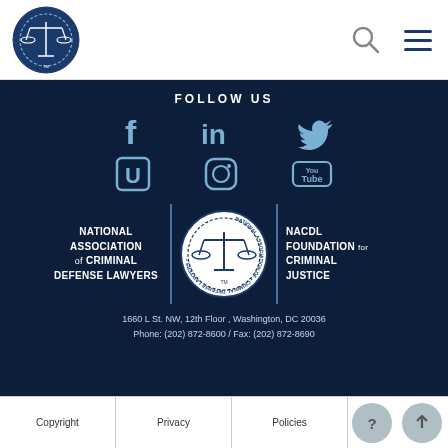[Figure (logo): NACDL circular logo with scales of justice in blue circle, top left of white header]
[Figure (other): Search icon (magnifying glass) in header top right]
[Figure (other): Hamburger menu icon in header top right]
FOLLOW US
[Figure (other): Social media icons: Facebook (f), LinkedIn (in), Twitter bird, UnionMetrics (U), Instagram, YouTube - on dark navy background]
[Figure (logo): NACDL circular seal logo with scales of justice in center of dark section]
NATIONAL ASSOCIATION of CRIMINAL DEFENSE LAWYERS
NACDL FOUNDATION for CRIMINAL JUSTICE
1660 L St. NW, 12th Floor , Washington, DC 20036
Phone: (202) 872-8600 / Fax: (202) 872-8690
Copyright | Privacy | Policies | Contact